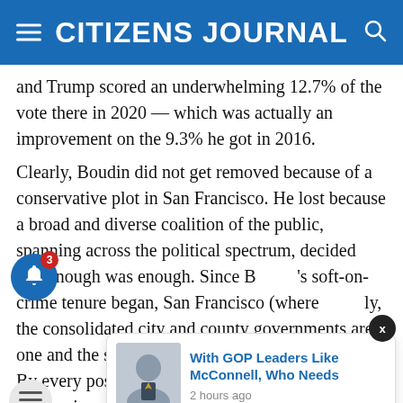CITIZENS JOURNAL
and Trump scored an underwhelming 12.7% of the vote there in 2020 — which was actually an improvement on the 9.3% he got in 2016.
Clearly, Boudin did not get removed because of a conservative plot in San Francisco. He lost because a broad and diverse coalition of the public, spanning across the political spectrum, decided that enough was enough. Since Boudin's soft-on-crime tenure began, San Francisco (where uniquely, the consolidated city and county governments are one and the same) has descended into lawlessness. By every possible measure — public safety, economics, and even aesthetics — the city is a complete mess. In 2021, San Francisco suffered the highest property crime rate of any municipality in the country. While that may not be the only reason its residents increasingly left the city, though it is certainly not the only reason for this exodus, it is certainly a heavily contributing factor.